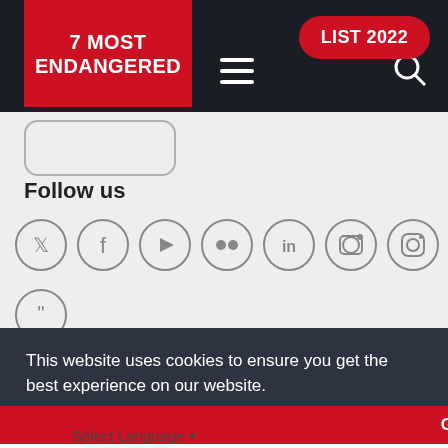7 MOST ENDANGERED
LIST 2022
Follow us
[Figure (infographic): Row of social media icon circles: Twitter, Facebook, YouTube, Flickr, LinkedIn, and two Instagram icons]
This website uses cookies to ensure you get the best experience on our website. Learn more
Got it!
Select Language ▾